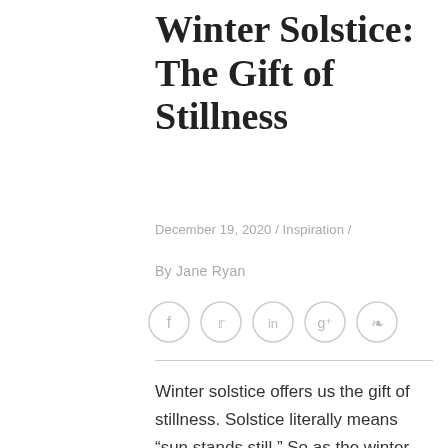Winter Solstice: The Gift of Stillness
December 19, 2020 / Inspiration /
By Jane Ryan
[Figure (other): Row of five social media icon buttons (Facebook, Twitter, LinkedIn, Google+, Pinterest) as circles with light grey borders]
Winter solstice offers us the gift of stillness. Solstice literally means “sun stands still.” So as the winter solstice approaches, we too are